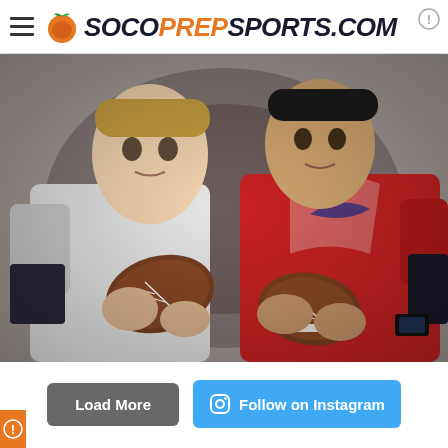SOCoPrepsports.com
[Figure (photo): Two young football players in uniforms holding footballs, facing each other, with a decorative net/mural background. Player on left wears white uniform, player on right wears red uniform.]
Load More
Follow on Instagram